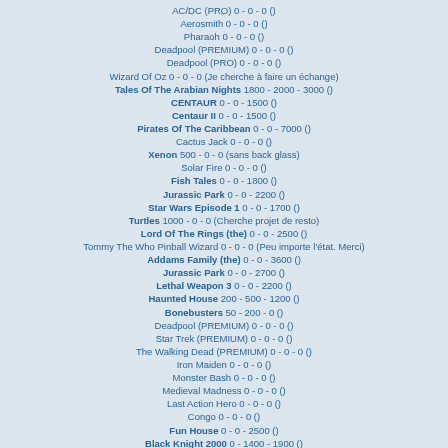AC/DC (PRO) 0 - 0 - 0 ()
Aerosmith 0 - 0 - 0 ()
Pharaoh 0 - 0 - 0 ()
Deadpool (PREMIUM) 0 - 0 - 0 ()
Deadpool (PRO) 0 - 0 - 0 ()
Wizard Of Oz 0 - 0 - 0 (Je cherche à faire un échange)
Tales Of The Arabian Nights 1800 - 2000 - 3000 ()
CENTAUR 0 - 0 - 1500 ()
Centaur II 0 - 0 - 1500 ()
Pirates Of The Caribbean 0 - 0 - 7000 ()
Cactus Jack 0 - 0 - 0 ()
Xenon 500 - 0 - 0 (sans back glass)
Solar Fire 0 - 0 - 0 ()
Fish Tales 0 - 0 - 1800 ()
Jurassic Park 0 - 0 - 2200 ()
Star Wars Episode 1 0 - 0 - 1700 ()
Turtles 1000 - 0 - 0 (Cherche projet de resto)
Lord Of The Rings (the) 0 - 0 - 2500 ()
Tommy The Who Pinball Wizard 0 - 0 - 0 (Peu importe l'état. Merci)
Addams Family (the) 0 - 0 - 3600 ()
Jurassic Park 0 - 0 - 2700 ()
Lethal Weapon 3 0 - 0 - 2200 ()
Haunted House 200 - 500 - 1200 ()
Bonebusters 50 - 200 - 0 ()
Deadpool (PREMIUM) 0 - 0 - 0 ()
Star Trek (PREMIUM) 0 - 0 - 0 ()
The Walking Dead (PREMIUM) 0 - 0 - 0 ()
Iron Maiden 0 - 0 - 0 ()
Monster Bash 0 - 0 - 0 ()
Medieval Madness 0 - 0 - 0 ()
Last Action Hero 0 - 0 - 0 ()
Congo 0 - 0 - 0 ()
Fun House 0 - 0 - 2500 ()
Black Knight 2000 0 - 1400 - 1900 ()
Stargate 0 - 0 - 2000 ()
Elvira And The Party Monsters 1100 - 1400 - 1800 ()
Fathom 800 - 1100 - 2000 (Si révisé, propre avec led ==> 2500 Si état nickel ==> 3000)
Jungle Queen 400 - 600 - 900 ()
Junk Yard 0 - 0 - 2500 ()
Scared Stiff 0 - 0 - 0 ()
Amazon Hunt 600 - 700 - 1400 ()